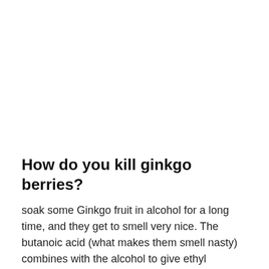How do you kill ginkgo berries?
soak some Ginkgo fruit in alcohol for a long time, and they get to smell very nice. The butanoic acid (what makes them smell nasty) combines with the alcohol to give ethyl butanoate (smells of apples / pineapples).
Which trees should not be planted